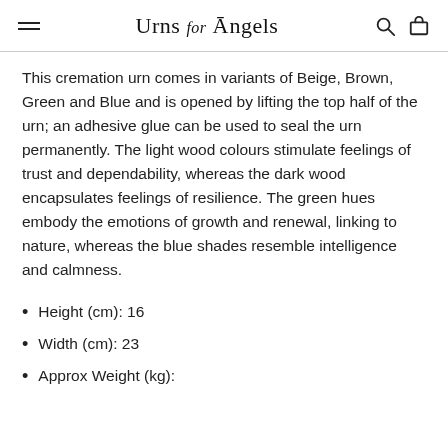Urns for Angels
This cremation urn comes in variants of Beige, Brown, Green and Blue and is opened by lifting the top half of the urn; an adhesive glue can be used to seal the urn permanently. The light wood colours stimulate feelings of trust and dependability, whereas the dark wood encapsulates feelings of resilience. The green hues embody the emotions of growth and renewal, linking to nature, whereas the blue shades resemble intelligence and calmness.
Height (cm): 16
Width (cm): 23
Approx Weight (kg):